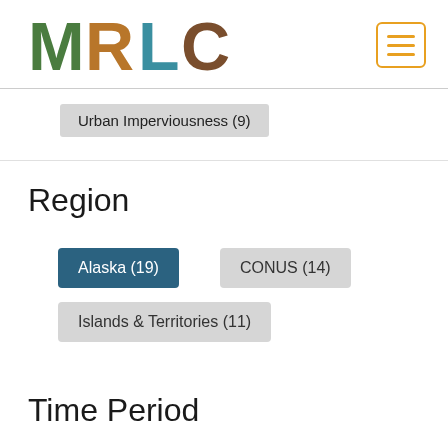[Figure (logo): MRLC logo with nature-themed letter fills (trees, water, earth textures)]
Urban Imperviousness (9)
Region
Alaska (19)
CONUS (14)
Islands & Territories (11)
Time Period